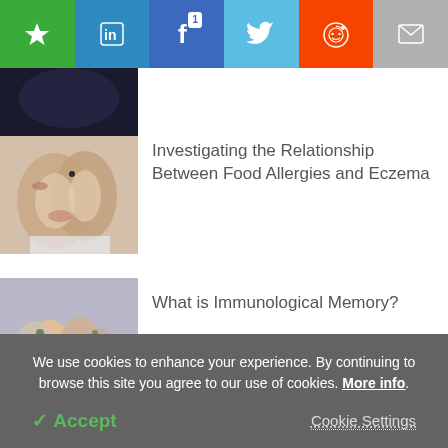[Figure (screenshot): Social media sharing toolbar with star/bookmark, LinkedIn, Facebook (with badge '1'), Twitter, Reddit, and email icons]
[Figure (photo): Dark background photo (partially visible, top of page)]
[Figure (photo): Hands scratching skin rash - eczema related image]
Investigating the Relationship Between Food Allergies and Eczema
[Figure (photo): Gummy vitamins or supplements in various colors with a yellow piece in foreground]
What is Immunological Memory?
We use cookies to enhance your experience. By continuing to browse this site you agree to our use of cookies. More info.
✓ Accept
Cookie Settings